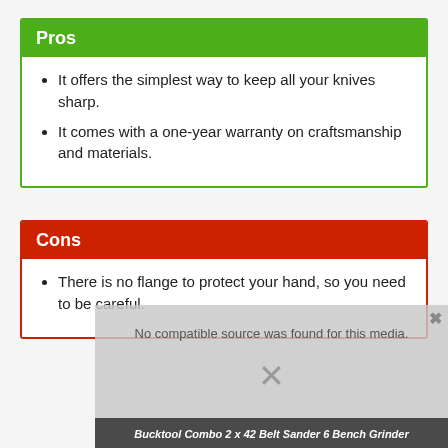Pros
It offers the simplest way to keep all your knives sharp.
It comes with a one-year warranty on craftsmanship and materials.
Cons
There is no flange to protect your hand, so you need to be careful.
No compatible source was found for this media.
Bucktool Combo 2 x 42 Belt Sander 6 Bench Grinder